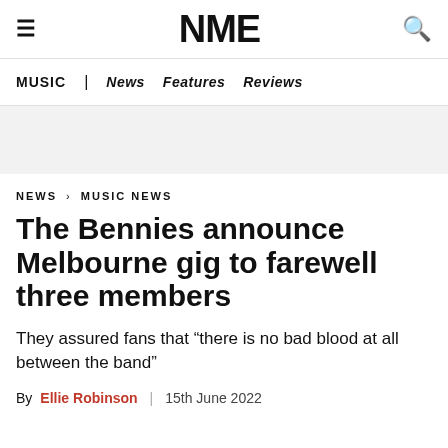NME
MUSIC | News Features Reviews
NEWS › MUSIC NEWS
The Bennies announce Melbourne gig to farewell three members
They assured fans that “there is no bad blood at all between the band”
By Ellie Robinson | 15th June 2022